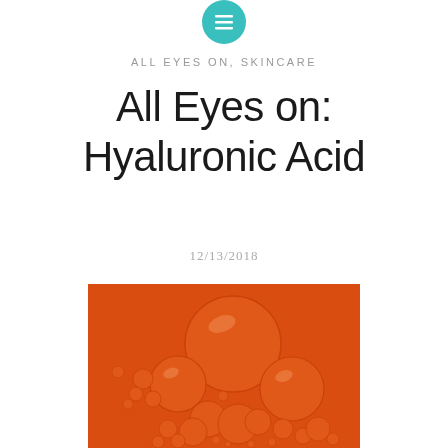ALL EYES ON, SKINCARE
All Eyes on: Hyaluronic Acid
12/13/2018
[Figure (photo): Macro photograph of orange oil bubbles of various sizes arranged on an orange background, creating a cluster of spherical droplets with glossy highlights.]